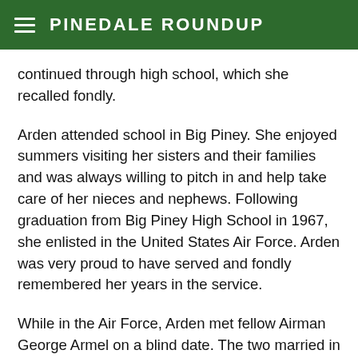PINEDALE ROUNDUP
continued through high school, which she recalled fondly.
Arden attended school in Big Piney. She enjoyed summers visiting her sisters and their families and was always willing to pitch in and help take care of her nieces and nephews. Following graduation from Big Piney High School in 1967, she enlisted in the United States Air Force. Arden was very proud to have served and fondly remembered her years in the service.
While in the Air Force, Arden met fellow Airman George Armel on a blind date. The two married in Hawaii in 1969. The following year the first of two daughters were born, Mary Michelle, and 19